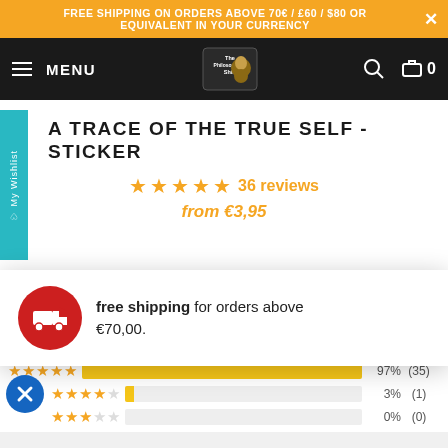FREE SHIPPING ON ORDERS ABOVE 70€ / £60 / $80 OR EQUIVALENT IN YOUR CURRENCY
[Figure (screenshot): Navigation bar with hamburger menu, MENU text, The Philosopher's Shirt logo, search icon, and cart icon showing 0]
A TRACE OF THE TRUE SELF - STICKER
★★★★★ 36 reviews
from €3,95
CUSTOMER REVIEWS
free shipping for orders above €70,00.
97% (35)
3% (1)
0% (0)